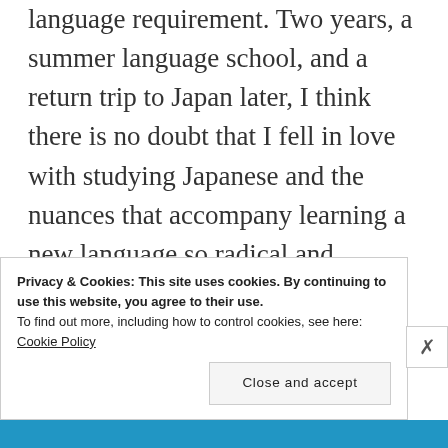language requirement. Two years, a summer language school, and a return trip to Japan later, I think there is no doubt that I fell in love with studying Japanese and the nuances that accompany learning a new language so radical and different than Western languages, let alone English. The instant feeling of helplessness and being lost I experienced in Japan back in January, 2011. re-emerged as I stepped onto the bus
Privacy & Cookies: This site uses cookies. By continuing to use this website, you agree to their use.
To find out more, including how to control cookies, see here:
Cookie Policy
Close and accept